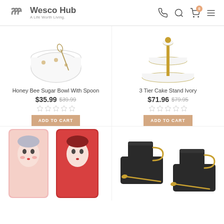Wesco Hub - A Life Worth Living.
[Figure (photo): Honey Bee Sugar Bowl with spoon - glass bowl with gold bee decorations and a spoon inside]
Honey Bee Sugar Bowl With Spoon
$35.99  $39.99
[Figure (photo): 3 Tier Cake Stand Ivory - white tiered cake stand with gold pole]
3 Tier Cake Stand Ivory
$71.96  $79.95
[Figure (photo): Two rectangular trays with illustrated female faces - one pink and one red]
[Figure (photo): Two dark espresso cups with gold handles on dark trays with gold spoons]